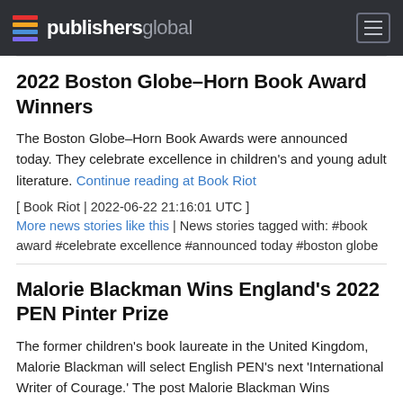publishersglobal
2022 Boston Globe–Horn Book Award Winners
The Boston Globe–Horn Book Awards were announced today. They celebrate excellence in children's and young adult literature. Continue reading at Book Riot
[ Book Riot | 2022-06-22 21:16:01 UTC ]
More news stories like this | News stories tagged with: #book award #celebrate excellence #announced today #boston globe
Malorie Blackman Wins England's 2022 PEN Pinter Prize
The former children's book laureate in the United Kingdom, Malorie Blackman will select English PEN's next 'International Writer of Courage.' The post Malorie Blackman Wins England's 2022 PEN Pinter Prize